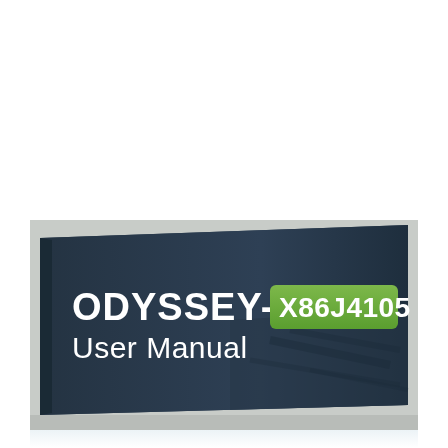[Figure (photo): Photo of an ODYSSEY-X86J4105 User Manual booklet with a dark navy blue cover. The cover shows the text 'ODYSSEY-' in large white bold letters followed by 'X86J4105' in a green rounded rectangle badge, and below that 'User Manual' in white text. The booklet is resting on a light gray surface and the bottom portion shows a slight reflection.]